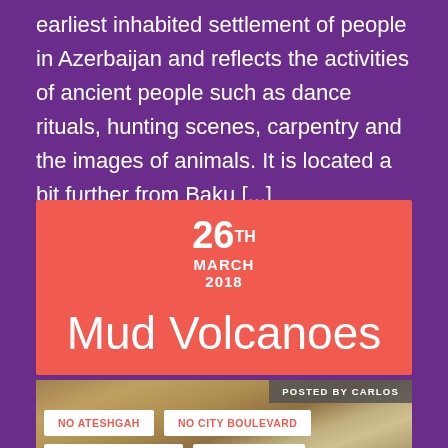earliest inhabited settlement of people in Azerbaijan and reflects the activities of ancient people such as dance rituals, hunting scenes, carpentry and the images of animals. It is located a bit further from Baku [...]
26TH MARCH 2018
Mud Volcanoes
[Figure (photo): Photograph of mud volcano rocky terrain landscape]
POSTED BY CARLOS
NO ATESHGAH
NO CITY BOULEVARD
NO FLAME TOWERS
NO GOBUSTAN
NO HEYDAR CENTER